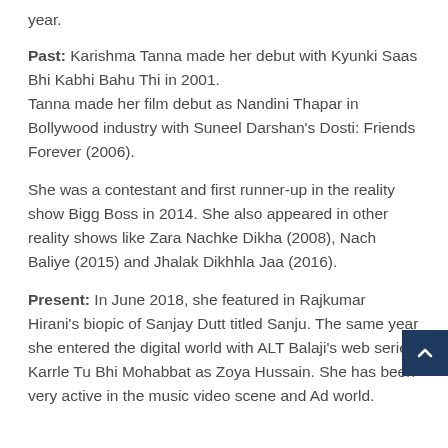year.
Past: Karishma Tanna made her debut with Kyunki Saas Bhi Kabhi Bahu Thi in 2001.
Tanna made her film debut as Nandini Thapar in Bollywood industry with Suneel Darshan's Dosti: Friends Forever (2006).
She was a contestant and first runner-up in the reality show Bigg Boss in 2014. She also appeared in other reality shows like Zara Nachke Dikha (2008), Nach Baliye (2015) and Jhalak Dikhhla Jaa (2016).
Present: In June 2018, she featured in Rajkumar Hirani's biopic of Sanjay Dutt titled Sanju. The same year she entered the digital world with ALT Balaji's web series Karrle Tu Bhi Mohabbat as Zoya Hussain. She has been very active in the music video scene and Ad world.